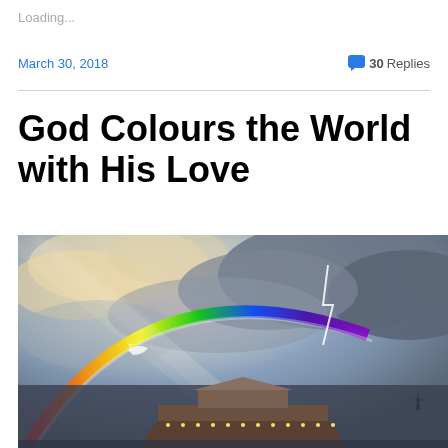Loading...
March 30, 2018
💬 30 Replies
God Colours the World with His Love
[Figure (illustration): Painting of Noah's Ark with a large rainbow arching across a dramatic stormy sky. The ark is visible at the bottom center with lights along its hull. Lightning is visible in the background. A white bird flies near the rainbow on the left side.]